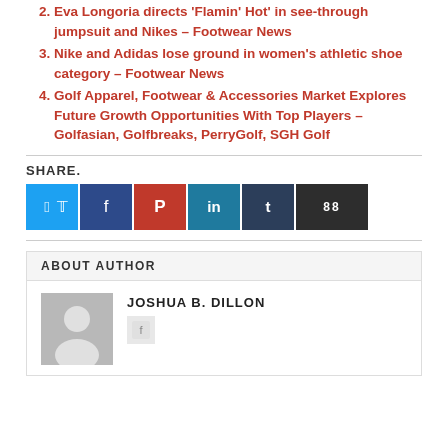2. Eva Longoria directs 'Flamin' Hot' in see-through jumpsuit and Nikes – Footwear News
3. Nike and Adidas lose ground in women's athletic shoe category – Footwear News
4. Golf Apparel, Footwear & Accessories Market Explores Future Growth Opportunities With Top Players – Golfasian, Golfbreaks, PerryGolf, SGH Golf
SHARE.
[Figure (other): Social share buttons: Twitter, Facebook, Pinterest, LinkedIn, Tumblr, Print (88)]
ABOUT AUTHOR
JOSHUA B. DILLON
[Figure (photo): Author avatar placeholder with silhouette icon]